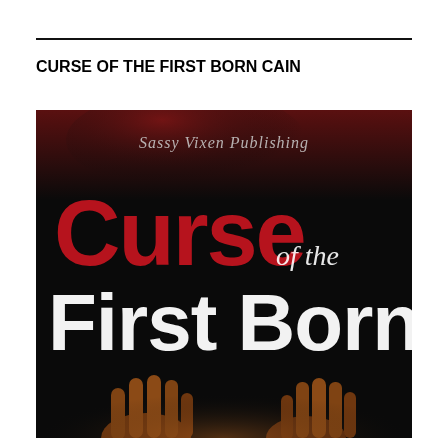CURSE OF THE FIRST BORN CAIN
[Figure (illustration): Book cover for 'Curse of the First Born Cain' published by Sassy Vixen Publishing. Dark background with red distressed text reading 'Curse' and white distressed text reading 'of the First Born'. Two glowing hands reaching up from the bottom. Publisher logo 'Sassy Vixen Publishing' in cursive at the top.]